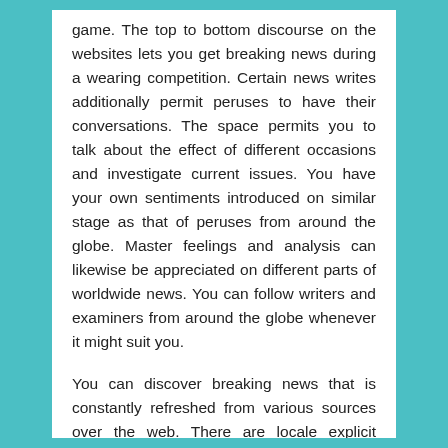game. The top to bottom discourse on the websites lets you get breaking news during a wearing competition. Certain news writes additionally permit peruses to have their conversations. The space permits you to talk about the effect of different occasions and investigate current issues. You have your own sentiments introduced on similar stage as that of peruses from around the globe. Master feelings and analysis can likewise be appreciated on different parts of worldwide news. You can follow writers and examiners from around the globe whenever it might suit you.
You can discover breaking news that is constantly refreshed from various sources over the web. There are locale explicit channels and websites. These emphasis on giving editorial on a locale and its economy and clashes assuming any this implies you have knowledge from a nearby point of view alongside the worldwide